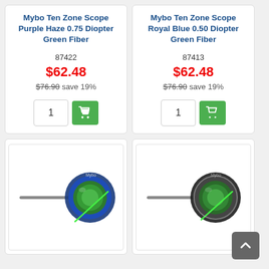Mybo Ten Zone Scope Purple Haze 0.75 Diopter Green Fiber
87422
$62.48
$76.90 save 19%
Mybo Ten Zone Scope Royal Blue 0.50 Diopter Green Fiber
87413
$62.48
$76.90 save 19%
[Figure (photo): Mybo Ten Zone archery scope in blue color with green fiber, mounted on a rod]
[Figure (photo): Mybo Ten Zone archery scope in black/grey color with green fiber, mounted on a rod]